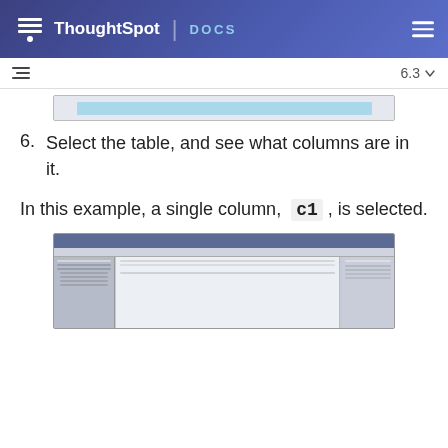ThoughtSpot DOCS
[Figure (screenshot): Partial screenshot of a database management tool showing a table selection interface with a light blue highlighted row]
6. Select the table, and see what columns are in it.
In this example, a single column, c1, is selected.
[Figure (screenshot): Screenshot of Microsoft SQL Server Management Studio showing a database tree on the left, a query pane in the center, and a properties panel on the right with column c1 selected]